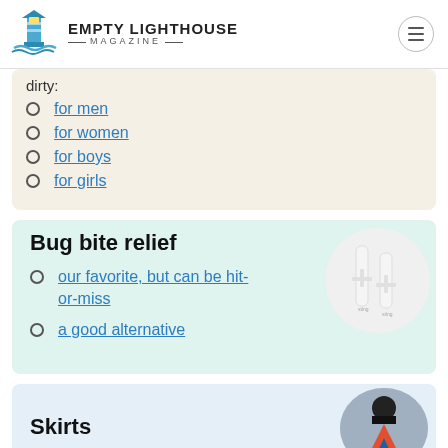EMPTY LIGHTHOUSE MAGAZINE
dirty:
for men
for women
for boys
for girls
Bug bite relief
our favorite, but can be hit-or-miss
a good alternative
Skirts